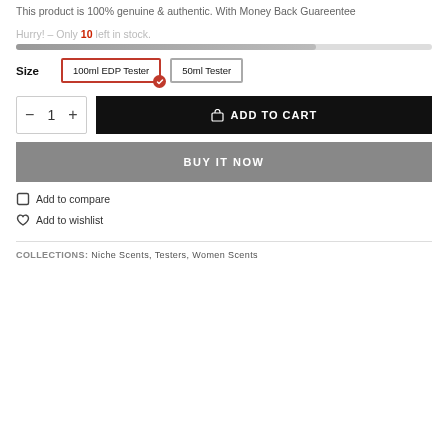This product is 100% genuine & authentic. With Money Back Guareentee
Hurry! – Only 10 left in stock.
Size   100ml EDP Tester   50ml Tester
ADD TO CART
BUY IT NOW
Add to compare
Add to wishlist
COLLECTIONS:  Niche Scents,  Testers,  Women Scents